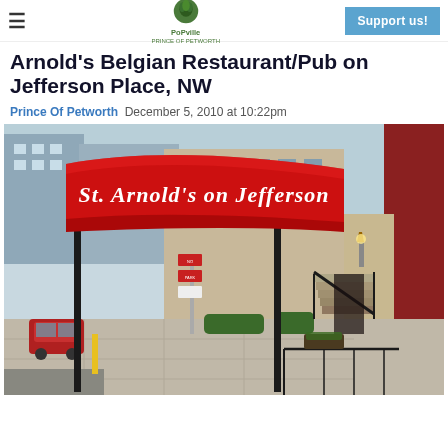≡  PoPville  Support us!
Arnold's Belgian Restaurant/Pub on Jefferson Place, NW
Prince Of Petworth  December 5, 2010 at 10:22pm
[Figure (photo): Exterior photo of St. Arnold's on Jefferson restaurant, showing a large red canvas awning with white old-English text reading 'St. Arnold's on Jefferson', urban street scene with buildings, parked cars, sidewalk, and entrance stairs visible in background.]